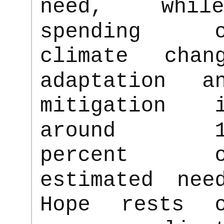need, while spending on climate change adaptation and mitigation is around 11 percent of estimated need. Hope rests on new climate finance. While market mechanisms and private Funding will be vital, they must be supported and leveraged by proactive public